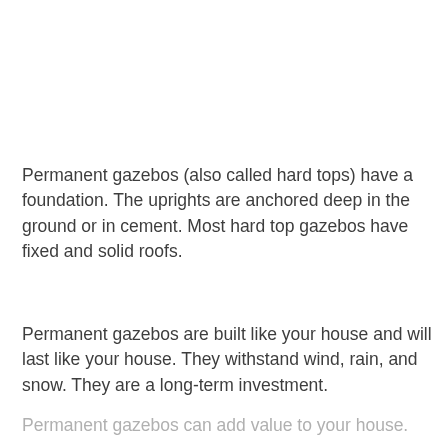Permanent gazebos (also called hard tops) have a foundation. The uprights are anchored deep in the ground or in cement. Most hard top gazebos have fixed and solid roofs.
Permanent gazebos are built like your house and will last like your house. They withstand wind, rain, and snow. They are a long-term investment.
Permanent gazebos can add value to your house.